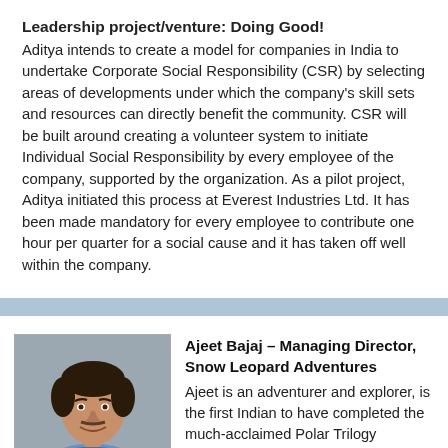Leadership project/venture: Doing Good!
Aditya intends to create a model for companies in India to undertake Corporate Social Responsibility (CSR) by selecting areas of developments under which the company's skill sets and resources can directly benefit the community. CSR will be built around creating a volunteer system to initiate Individual Social Responsibility by every employee of the company, supported by the organization. As a pilot project, Aditya initiated this process at Everest Industries Ltd. It has been made mandatory for every employee to contribute one hour per quarter for a social cause and it has taken off well within the company.
[Figure (photo): Headshot photo of Ajeet Bajaj, a middle-aged Indian man in a striped blue polo shirt, smiling]
Ajeet Bajaj – Managing Director, Snow Leopard Adventures
Ajeet is an adventurer and explorer, is the first Indian to have completed the much-acclaimed Polar Trilogy comprising skiing to the North Pole, to the South Pole and across the